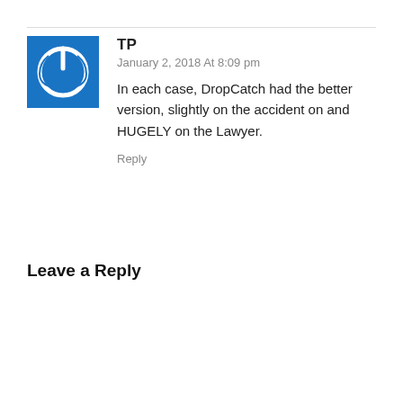[Figure (logo): Blue square avatar with white power button icon]
TP
January 2, 2018 At 8:09 pm
In each case, DropCatch had the better version, slightly on the accident on and HUGELY on the Lawyer.
Reply
Leave a Reply